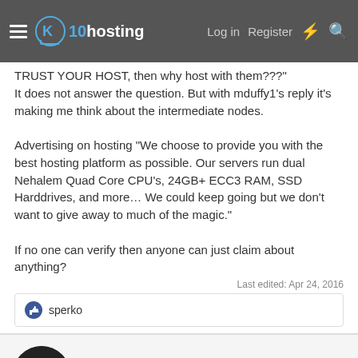x10hosting — Log in  Register
TRUST YOUR HOST, then why host with them???"
It does not answer the question. But with mduffy1's reply it's making me think about the intermediate nodes.

Advertising on hosting "We choose to provide you with the best hosting platform as possible. Our servers run dual Nehalem Quad Core CPU's, 24GB+ ECC3 RAM, SSD Harddrives, and more… We could keep going but we don't want to give away to much of the magic."

If no one can verify then anyone can just claim about anything?
Last edited: Apr 24, 2016
sperko
mduffyx1
New Member